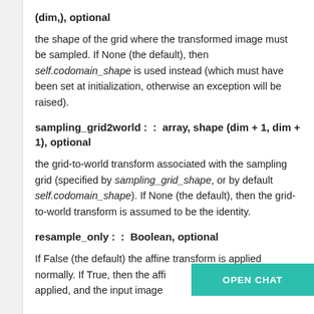(dim,), optional
the shape of the grid where the transformed image must be sampled. If None (the default), then self.codomain_shape is used instead (which must have been set at initialization, otherwise an exception will be raised).
sampling_grid2world :  :  array, shape (dim + 1, dim + 1), optional
the grid-to-world transform associated with the sampling grid (specified by sampling_grid_shape, or by default self.codomain_shape). If None (the default), then the grid-to-world transform is assumed to be the identity.
resample_only :  :  Boolean, optional
If False (the default) the affine transform is applied normally. If True, then the affi applied, and the input image